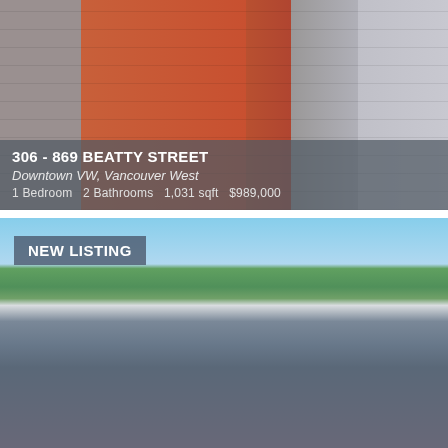[Figure (photo): Exterior photo of a multi-story red brick commercial/residential building in downtown Vancouver, flanked by grey stone buildings]
306 - 869 BEATTY STREET
Downtown VW, Vancouver West
1 Bedroom  2 Bathrooms  1,031 sqft  $989,000
[Figure (photo): Exterior photo of a large craftsman-style two-story house with grey siding, multiple gabled rooflines, and lush green trees, under a blue sky. Labelled NEW LISTING.]